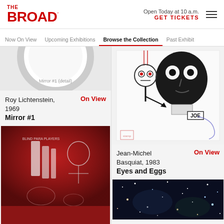THE BROAD | Open Today at 10 a.m. | GET TICKETS
Now On View | Upcoming Exhibitions | Browse the Collection | Past Exhibit
[Figure (photo): Partial view of a round mirror artwork (Roy Lichtenstein, Mirror #1, 1969) - top portion visible]
Roy Lichtenstein, 1969
Mirror #1
On View
[Figure (photo): Jean-Michel Basquiat painting with a figure and text 'BLIND PARA PLAYERS' on red/dark background]
[Figure (photo): Jean-Michel Basquiat, 1983, Eyes and Eggs - drawing of a face with large eyes and figure with 'JOE' label]
Jean-Michel Basquiat, 1983
Eyes and Eggs
On View
[Figure (photo): Space/night sky photograph with stars and colorful points of light, dark blue background]